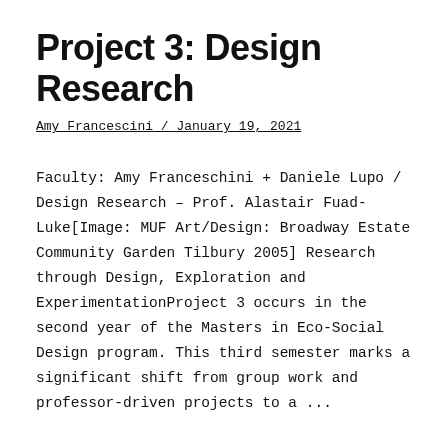Project 3: Design Research
Amy Francescini / January 19, 2021
Faculty: Amy Franceschini + Daniele Lupo / Design Research – Prof. Alastair Fuad-Luke[Image: MUF Art/Design: Broadway Estate Community Garden Tilbury 2005] Research through Design, Exploration and ExperimentationProject 3 occurs in the second year of the Masters in Eco-Social Design program. This third semester marks a significant shift from group work and professor-driven projects to a ...